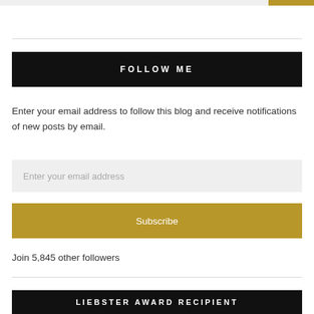FOLLOW ME
Enter your email address to follow this blog and receive notifications of new posts by email.
Enter your email address
Subscribe
Join 5,845 other followers
LIEBSTER AWARD RECIPIENT